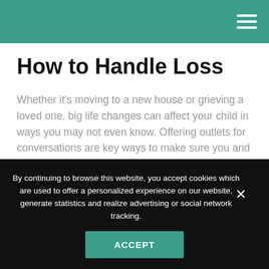How to Handle Loss
Whether it's moving to a new house or grieving a loved one, big life changes can affect your child in ways you may not even know. Offering outlets for conversations are key ways to make sure you and your child are adjusting to these life changes.
By continuing to browse this website, you accept cookies which are used to offer a personalized experience on our website, generate statistics and realize advertising or social network tracking.